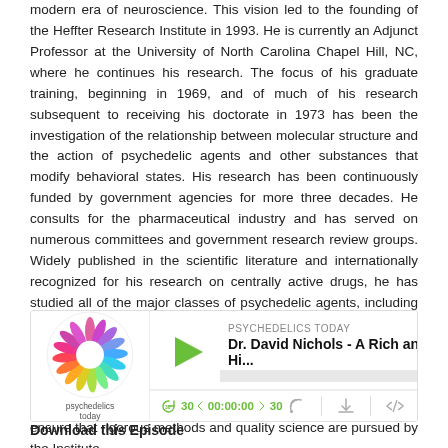modern era of neuroscience. This vision led to the founding of the Heffter Research Institute in 1993. He is currently an Adjunct Professor at the University of North Carolina Chapel Hill, NC, where he continues his research. The focus of his graduate training, beginning in 1969, and of much of his research subsequent to receiving his doctorate in 1973 has been the investigation of the relationship between molecular structure and the action of psychedelic agents and other substances that modify behavioral states. His research has been continuously funded by government agencies for more three decades. He consults for the pharmaceutical industry and has served on numerous committees and government research review groups. Widely published in the scientific literature and internationally recognized for his research on centrally active drugs, he has studied all of the major classes of psychedelic agents, including LSD and other lysergic acid derivatives, psilocybin and the tryptamines, and phenethylamines related to mescaline. Among scientists, he is recognized as one of the foremost experts on the medicinal chemistry of hallucinogens. His high standards and more than four decades of research experience set the tone to ensure that rigorous methods and quality science are pursued by the Institute.
[Figure (screenshot): Psychedelics Today podcast player widget showing episode 'Dr. David Nichols - A Rich and Hi...' with play button, progress bar, time controls showing 00:00:00, and podcast logo]
Download this Episode